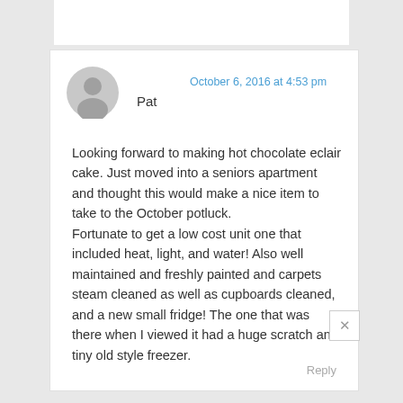[Figure (illustration): Gray circle avatar icon for user Pat]
Pat
October 6, 2016 at 4:53 pm
Looking forward to making hot chocolate eclair cake. Just moved into a seniors apartment and thought this would make a nice item to take to the October potluck.
Fortunate to get a low cost unit one that included heat, light, and water! Also well maintained and freshly painted and carpets steam cleaned as well as cupboards cleaned, and a new small fridge! The one that was there when I viewed it had a huge scratch and tiny old style freezer.
Reply